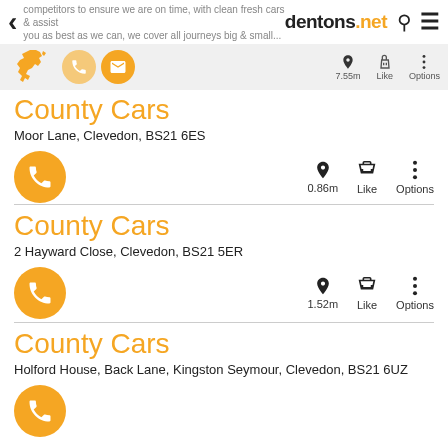competitors to ensure we are on time, with clean fresh cars & assist you as best as we can, we cover all journeys big & small... dentons.net
County Cars
Moor Lane, Clevedon, BS21 6ES
0.86m Like Options
County Cars
2 Hayward Close, Clevedon, BS21 5ER
1.52m Like Options
County Cars
Holford House, Back Lane, Kingston Seymour, Clevedon, BS21 6UZ